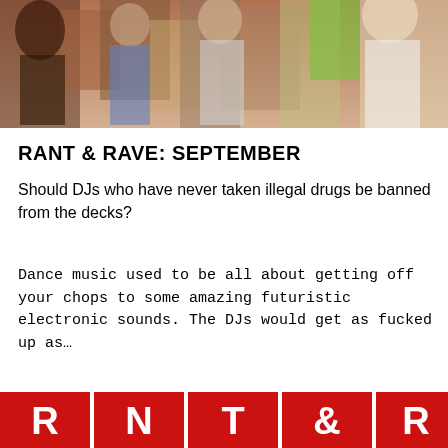[Figure (photo): Crowd of young people at a party or rave, cropped at the top of the page]
RANT & RAVE: SEPTEMBER
Should DJs who have never taken illegal drugs be banned from the decks?
Dance music used to be all about getting off your chops to some amazing futuristic electronic sounds. The DJs would get as fucked up as…
[Figure (logo): Red and white logo/banner at the bottom of the page, partially cropped, showing large letters on red background tiles]